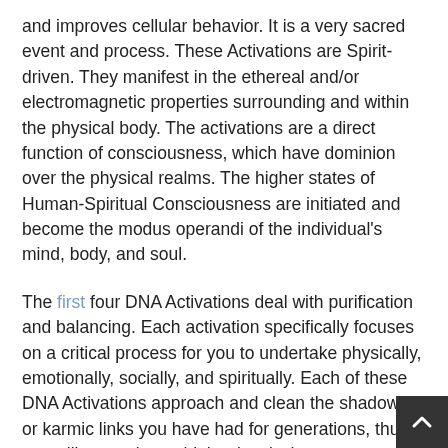and improves cellular behavior. It is a very sacred event and process. These Activations are Spirit-driven. They manifest in the ethereal and/or electromagnetic properties surrounding and within the physical body. The activations are a direct function of consciousness, which have dominion over the physical realms. The higher states of Human-Spiritual Consciousness are initiated and become the modus operandi of the individual's mind, body, and soul.
The first four DNA Activations deal with purification and balancing. Each activation specifically focuses on a critical process for you to undertake physically, emotionally, socially, and spiritually. Each of these DNA Activations approach and clean the shadows or karmic links you have had for generations, thus propelling you into a higher level where you are enabled to receive God's Grace effortlessly.
The 5th and 6th DNA Activations deal directly with your roots for Divine empowerment. They help raise your consciousness and declare your Spiritual authority. It's k